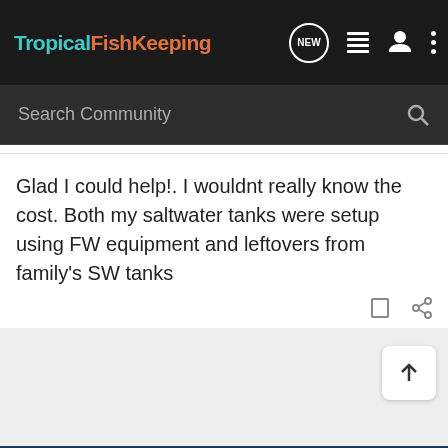TropicalFishKeeping
Search Community
Glad I could help!. I wouldnt really know the cost. Both my saltwater tanks were setup using FW equipment and leftovers from family's SW tanks
[Figure (screenshot): California Psychics advertisement: $1/ per minute* for new customers, Sign up now button]